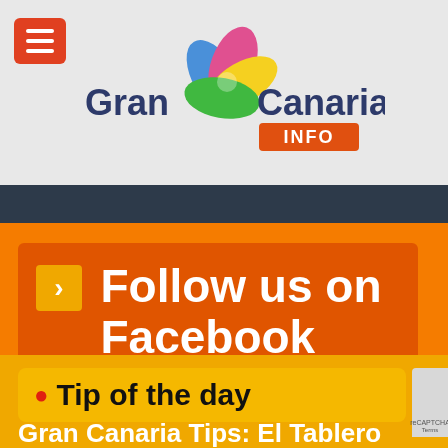[Figure (logo): Gran Canaria Info logo with colorful flower/leaf design and orange INFO badge]
Follow us on Facebook
Tip of the day
Gran Canaria Tips: El Tablero